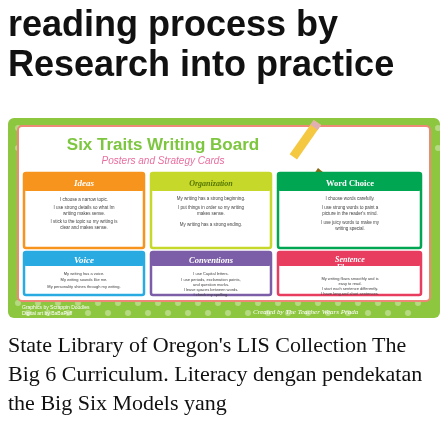reading process by Research into practice
[Figure (illustration): Six Traits Writing Board: Posters and Strategy Cards educational poster showing six colored cards: Ideas (orange), Organization (yellow-green), Word Choice (green), Voice (blue), Conventions (purple), Sentence Fluency (red/pink). Green polka-dot background. Credits: Graphics by Scrappin Doodles, Digital art by BaBaPuff. Created by The Teacher Wears Prada.]
State Library of Oregon's LIS Collection The Big 6 Curriculum. Literacy dengan pendekatan the Big Six Models yang